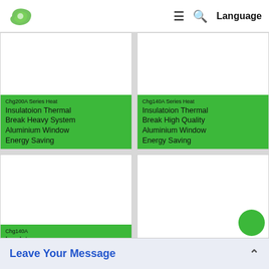[Figure (logo): Green leaf/swirl logo]
Language
[Figure (photo): Product image - Chg200A Series Heat Insulation Thermal Break Heavy System Aluminium Window Energy Saving]
Chg200A Series Heat Insulatoion Thermal Break Heavy System Aluminium Window Energy Saving
[Figure (photo): Product image - Chg140A Series Heat Insulation Thermal Break High Quality Aluminium Window Energy Saving]
Chg140A Series Heat Insulatoion Thermal Break High Quality Aluminium Window Energy Saving
[Figure (photo): Product image - Chg140A Series]
Chg140A Insulato Break S Alumini
[Figure (photo): Product image - fourth card]
Leave Your Message